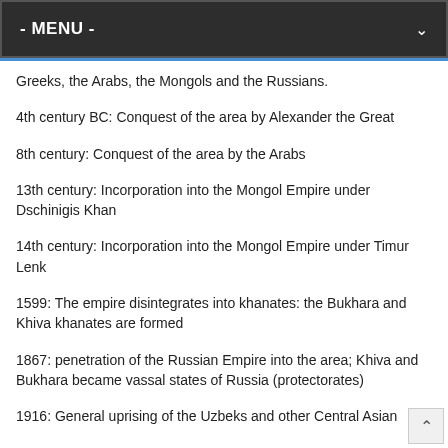- MENU -
Greeks, the Arabs, the Mongols and the Russians.
4th century BC: Conquest of the area by Alexander the Great
8th century: Conquest of the area by the Arabs
13th century: Incorporation into the Mongol Empire under Dschinigis Khan
14th century: Incorporation into the Mongol Empire under Timur Lenk
1599: The empire disintegrates into khanates: the Bukhara and Khiva khanates are formed
1867: penetration of the Russian Empire into the area; Khiva and Bukhara became vassal states of Russia (protectorates)
1916: General uprising of the Uzbeks and other Central Asian